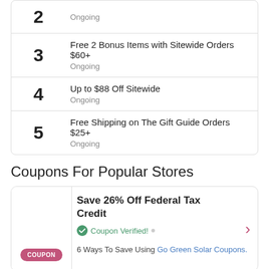| # | Deal |
| --- | --- |
| 2 | Ongoing |
| 3 | Free 2 Bonus Items with Sitewide Orders $60+
Ongoing |
| 4 | Up to $88 Off Sitewide
Ongoing |
| 5 | Free Shipping on The Gift Guide Orders $25+
Ongoing |
Coupons For Popular Stores
| COUPON | Save 26% Off Federal Tax Credit | Coupon Verified! | 6 Ways To Save Using Go Green Solar Coupons. |